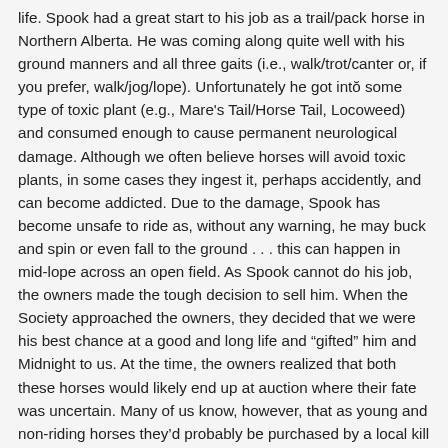life. Spook had a great start to his job as a trail/pack horse in Northern Alberta. He was coming along quite well with his ground manners and all three gaits (i.e., walk/trot/canter or, if you prefer, walk/jog/lope). Unfortunately he got into some type of toxic plant (e.g., Mare's Tail/Horse Tail, Locoweed) and consumed enough to cause permanent neurological damage. Although we often believe horses will avoid toxic plants, in some cases they ingest it, perhaps accidently, and can become addicted. Due to the damage, Spook has become unsafe to ride as, without any warning, he may buck and spin or even fall to the ground . . . this can happen in mid-lope across an open field. As Spook cannot do his job, the owners made the tough decision to sell him. When the Society approached the owners, they decided that we were his best chance at a good and long life and "gifted" him and Midnight to us. At the time, the owners realized that both these horses would likely end up at auction where their fate was uncertain. Many of us know, however, that as young and non-riding horses they'd probably be purchased by a local kill buyer. We not only appreciated their honesty but also their willingness to gift the horses to us. Spook doesn't seem to have as many visible symptoms of the neurological damage than Midnight. Spook moves nice but his feet hinder him a bit at the moment as he is need of a trim. He is shy but friendly and sweet. However, if you move a little fast, Spook seems to struggle to process what you are doing so gets a bit scared; he doesn't panic nor is he unsafe. He